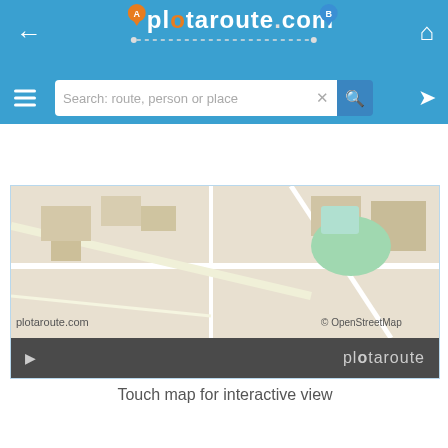plotaroute.com
[Figure (screenshot): plotaroute.com website header with logo, navigation arrows, search bar, and an OpenStreetMap map view with a dark bottom bar showing 'plotaroute' branding]
Touch map for interactive view